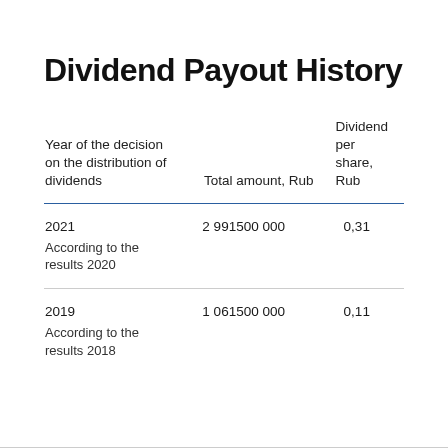Dividend Payout History
| Year of the decision on the distribution of dividends | Total amount, Rub | Dividend per share, Rub |
| --- | --- | --- |
| 2021
According to the results 2020 | 2 991500 000 | 0,31 |
| 2019
According to the results 2018 | 1 061500 000 | 0,11 |